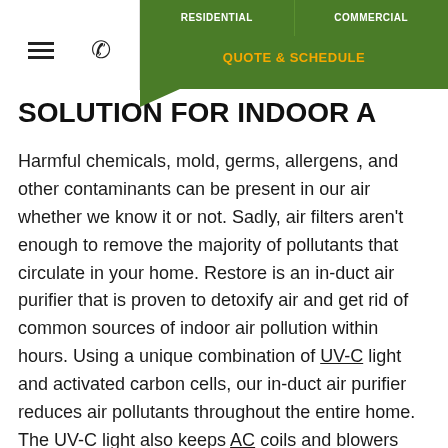RESIDENTIAL   COMMERCIAL   QUOTE & SCHEDULE
SOLUTION FOR INDOOR A…
Harmful chemicals, mold, germs, allergens, and other contaminants can be present in our air whether we know it or not. Sadly, air filters aren't enough to remove the majority of pollutants that circulate in your home. Restore is an in-duct air purifier that is proven to detoxify air and get rid of common sources of indoor air pollution within hours. Using a unique combination of UV-C light and activated carbon cells, our in-duct air purifier reduces air pollutants throughout the entire home. The UV-C light also keeps AC coils and blowers free of efficiency-robbing biological growth such as mold and bacteria.